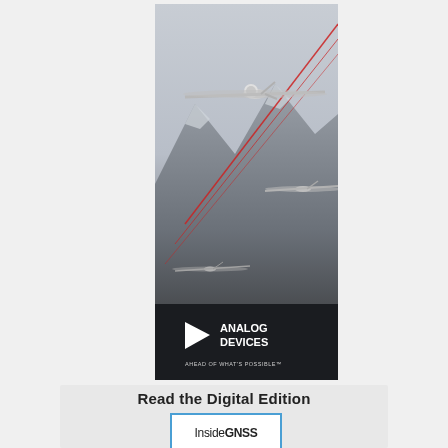[Figure (advertisement): Analog Devices advertisement showing military UAV drones flying over snowy mountains with red laser beams, logo and tagline 'AHEAD OF WHAT'S POSSIBLE' at bottom]
Read the Digital Edition
[Figure (logo): InsideGNSS magazine logo in blue-bordered box]